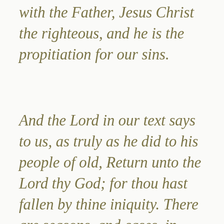with the Father, Jesus Christ the righteous, and he is the propitiation for our sins.
And the Lord in our text says to us, as truly as he did to his people of old, Return unto the Lord thy God; for thou hast fallen by thine iniquity. There are seasons, and cases, in which we never needed